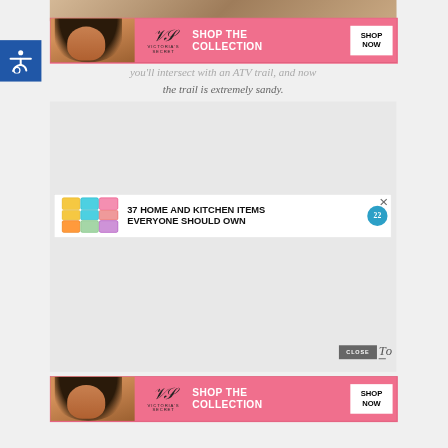[Figure (screenshot): Victoria's Secret advertisement banner with pink background, model photo, VS logo, 'SHOP THE COLLECTION' text, and 'SHOP NOW' white button]
you'll intersect with an ATV trail, and now the trail is extremely sandy.
[Figure (screenshot): Large gray/white content block area with embedded ad: '37 HOME AND KITCHEN ITEMS EVERYONE SHOULD OWN' with colorful food storage bags image and circular badge showing '22'. Close button overlay at bottom.]
[Figure (screenshot): Victoria's Secret advertisement banner (bottom) with pink background, model photo, VS logo, 'SHOP THE COLLECTION' text, and 'SHOP NOW' white button]